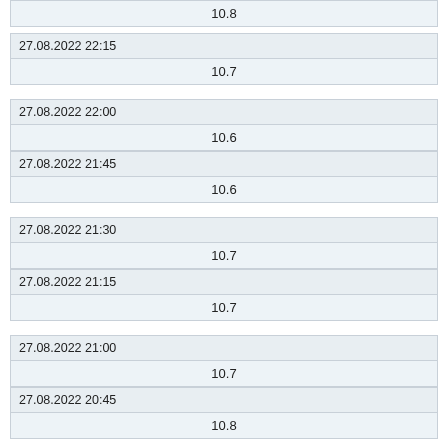| 10.8 |
| 27.08.2022 22:15 |
| 10.7 |
| 27.08.2022 22:00 |
| 10.6 |
| 27.08.2022 21:45 |
| 10.6 |
| 27.08.2022 21:30 |
| 10.7 |
| 27.08.2022 21:15 |
| 10.7 |
| 27.08.2022 21:00 |
| 10.7 |
| 27.08.2022 20:45 |
| 10.8 |
| 27.08.2022 20:30 |